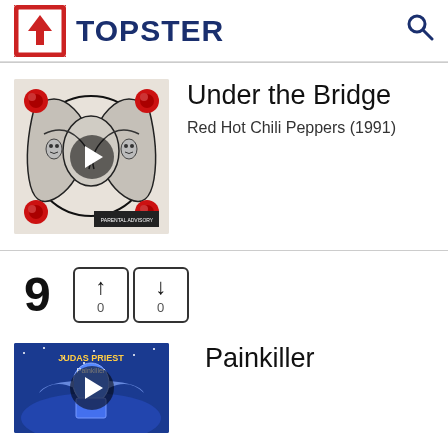[Figure (logo): Topster app logo with red upload icon and dark blue TOPSTER text, plus search icon]
Under the Bridge
Red Hot Chili Peppers (1991)
[Figure (photo): Red Hot Chili Peppers Blood Sugar Sex Magik album art - black and white psychedelic illustration with red roses]
9
0
0
Painkiller
[Figure (photo): Judas Priest Painkiller album art - blue sci-fi illustration with robot figure]